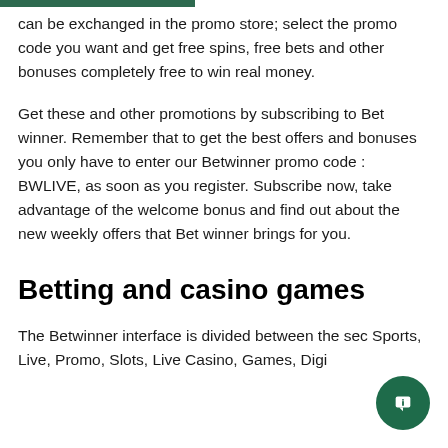can be exchanged in the promo store; select the promo code you want and get free spins, free bets and other bonuses completely free to win real money.
Get these and other promotions by subscribing to Bet winner. Remember that to get the best offers and bonuses you only have to enter our Betwinner promo code : BWLIVE, as soon as you register. Subscribe now, take advantage of the welcome bonus and find out about the new weekly offers that Bet winner brings for you.
Betting and casino games
The Betwinner interface is divided between the sec Sports, Live, Promo, Slots, Live Casino, Games, Digi